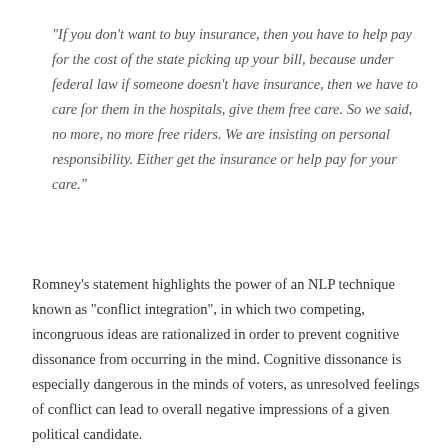“If you don’t want to buy insurance, then you have to help pay for the cost of the state picking up your bill, because under federal law if someone doesn’t have insurance, then we have to care for them in the hospitals, give them free care. So we said, no more, no more free riders. We are insisting on personal responsibility. Either get the insurance or help pay for your care.”
Romney’s statement highlights the power of an NLP technique known as “conflict integration”, in which two competing, incongruous ideas are rationalized in order to prevent cognitive dissonance from occurring in the mind. Cognitive dissonance is especially dangerous in the minds of voters, as unresolved feelings of conflict can lead to overall negative impressions of a given political candidate.